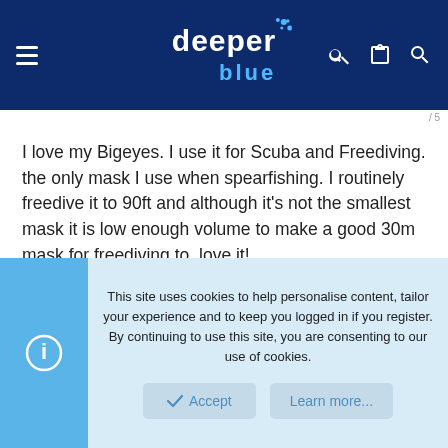deeper blue
I love my Bigeyes. I use it for Scuba and Freediving. the only mask I use when spearfishing. I routinely freedive it to 90ft and although it's not the smallest mask it is low enough volume to make a good 30m mask for freediving to. love it!
This site uses cookies to help personalise content, tailor your experience and to keep you logged in if you register.
By continuing to use this site, you are consenting to our use of cookies.